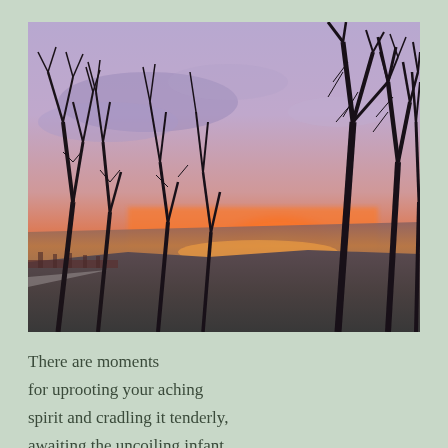[Figure (photo): Winter sunset landscape with bare leafless trees silhouetted against a dramatic sky. The sky transitions from purple and lavender at the top to vivid orange and red at the horizon. A frozen or icy river or lake is visible in the background, reflecting the warm sunset colors. Trees branch across the upper right portion of the image.]
There are moments
for uprooting your aching
spirit and cradling it tenderly,
awaiting the uncoiling infant